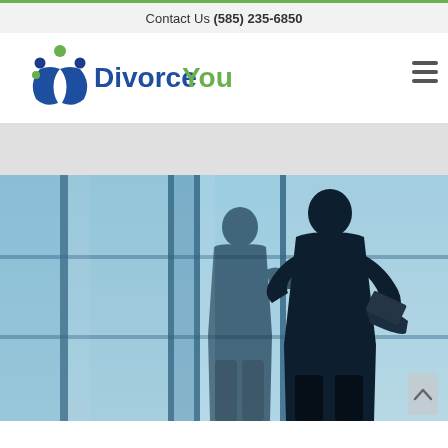Contact Us (585) 235-6850
[Figure (logo): DivorceYourself logo with stylized person icon in blue and green, text reads DivorceYourself in blue and green]
[Figure (photo): Silhouettes of two business people standing against large glass windows with blue sky, one holding a phone and one holding a laptop]